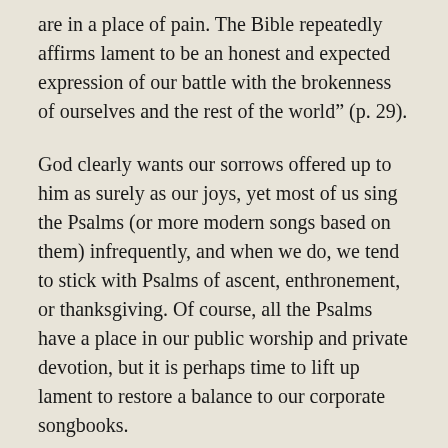are in a place of pain. The Bible repeatedly affirms lament to be an honest and expected expression of our battle with the brokenness of ourselves and the rest of the world" (p. 29).
God clearly wants our sorrows offered up to him as surely as our joys, yet most of us sing the Psalms (or more modern songs based on them) infrequently, and when we do, we tend to stick with Psalms of ascent, enthronement, or thanksgiving. Of course, all the Psalms have a place in our public worship and private devotion, but it is perhaps time to lift up lament to restore a balance to our corporate songbooks.
So why don’t we sing more songs of a darker mood?